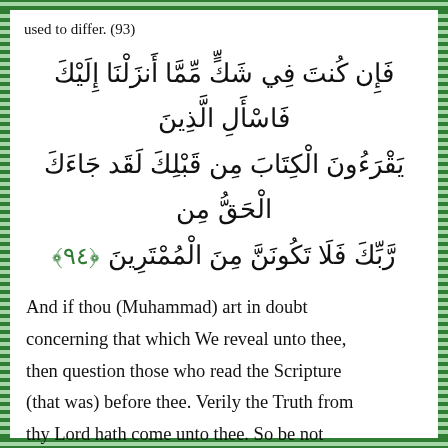used to differ. (93)
فَإِن كُنتَ فِي شَكٍّ مِّمَّا أَنزَلْنَا إِلَيْكَ فَاسْأَلِ الَّذِينَ يَقْرَءُونَ الْكِتَابَ مِن قَبْلِكَ لَقَد جَاءَكَ الْحَقُّ مِن رَّبِّكَ فَلَا تَكُونَنَّ مِنَ الْمُمْتَرِينَ ﴿٩٤﴾
And if thou (Muhammad) art in doubt concerning that which We reveal unto thee, then question those who read the Scripture (that was) before thee. Verily the Truth from thy Lord hath come unto thee. So be not thou of the waverers. (94)